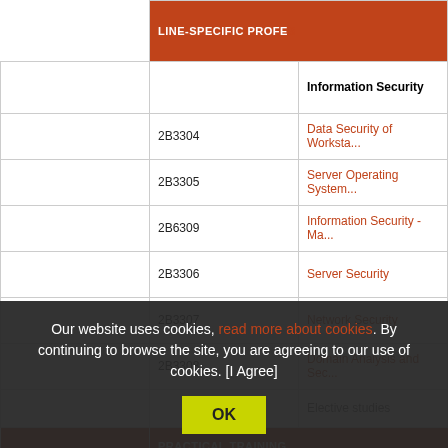|  | Code | LINE-SPECIFIC PROFESSIONAL STUDIES |
| --- | --- | --- |
|  |  | Information Security |
|  | 2B3304 | Data Security of Worksta... |
|  | 2B3305 | Server Operating System... |
|  | 2B6309 | Information Security - Ma... |
|  | 2B3306 | Server Security |
|  | 2B3307 | Network Security |
|  | 2B3308 | Domain Analysis and Sec... |
|  |  | Elective studies |
|  |  | PRACTICAL TRAINING |
|  |  | Practical training |
Our website uses cookies, read more about cookies. By continuing to browse the site, you are agreeing to our use of cookies. [I Agree]